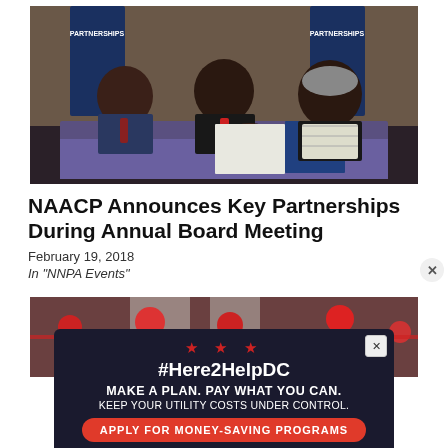[Figure (photo): Three people sitting at a table with blue cloth. The person in the center is signing a document. Two others, one on each side, are watching. There are NAACP/partnerships banners in the background.]
NAACP Announces Key Partnerships During Annual Board Meeting
February 19, 2018
In "NNPA Events"
[Figure (photo): Partial photo of a ribbon-cutting or event scene, partially obscured by an advertisement overlay.]
[Figure (other): Advertisement banner: #Here2HelpDC - MAKE A PLAN. PAY WHAT YOU CAN. KEEP YOUR UTILITY COSTS UNDER CONTROL. APPLY FOR MONEY-SAVING PROGRAMS]